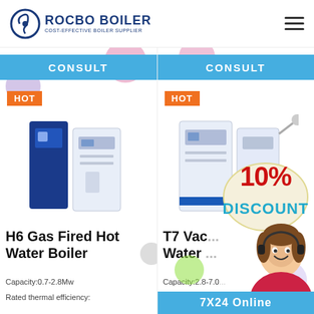[Figure (logo): Rocbo Boiler logo with circular icon and text 'ROCBO BOILER / COST-EFFECTIVE BOILER SUPPLIER']
[Figure (photo): H6 Gas Fired Hot Water Boiler product photo - dark blue and white unit]
[Figure (photo): T7 Vacuum Hot Water Boiler product photo with 10% DISCOUNT badge overlay]
CONSULT
CONSULT
HOT
HOT
H6 Gas Fired Hot Water Boiler
T7 Vac... Water...
Capacity:0.7-2.8Mw
Rated thermal efficiency:
Capacity:2.8-7.0...
Rated the...
7X24 Online